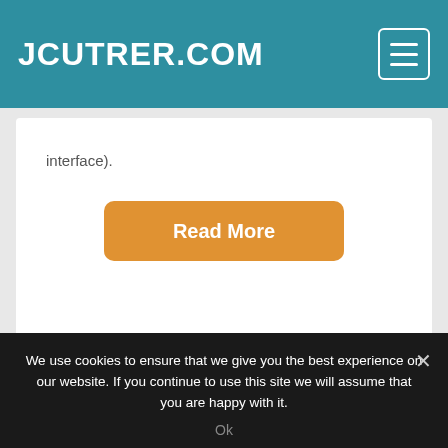JCUTRER.COM
interface).
[Figure (other): Read More button — orange rounded rectangle with white bold text 'Read More']
We use cookies to ensure that we give you the best experience on our website. If you continue to use this site we will assume that you are happy with it.
Ok